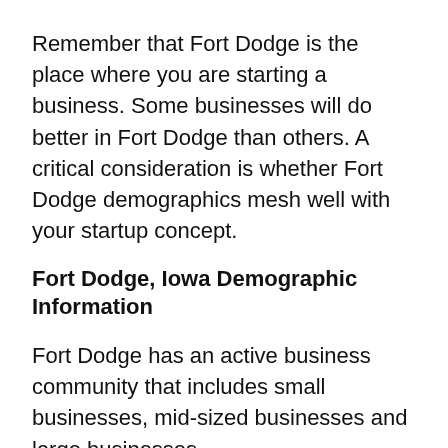Remember that Fort Dodge is the place where you are starting a business. Some businesses will do better in Fort Dodge than others. A critical consideration is whether Fort Dodge demographics mesh well with your startup concept.
Fort Dodge, Iowa Demographic Information
Fort Dodge has an active business community that includes small businesses, mid-sized businesses and large businesses.
To give you a better feel for Fort Dodge demographics for small businesses, we have tabulated the small business sizes, based on